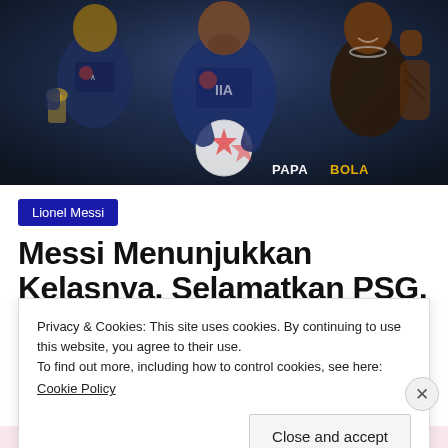[Figure (photo): Three football players in PSG dark blue jerseys — Mbappe on left holding a trophy, Messi in center holding a Champions League ball, Ronaldinho on right with fist raised — against a dark stadium background. PAPABOLA watermark in bottom right.]
Lionel Messi
Messi Menunjukkan Kelasnya, Selamatkan PSG,
Privacy & Cookies: This site uses cookies. By continuing to use this website, you agree to their use.
To find out more, including how to control cookies, see here:
Cookie Policy
Close and accept